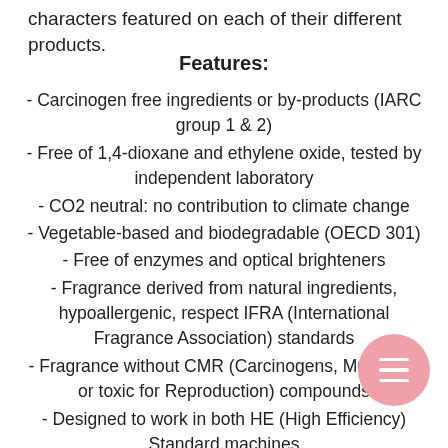characters featured on each of their different products.
Features:
- Carcinogen free ingredients or by-products (IARC group 1 & 2)
- Free of 1,4-dioxane and ethylene oxide, tested by independent laboratory
- CO2 neutral: no contribution to climate change
- Vegetable-based and biodegradable (OECD 301)
- Free of enzymes and optical brighteners
- Fragrance derived from natural ingredients, hypoallergenic, respect IFRA (International Fragrance Association) standards
- Fragrance without CMR (Carcinogens, Mutagens or toxic for Reproduction) compounds
- Designed to work in both HE (High Efficiency) Standard machines
- Not tested on animals